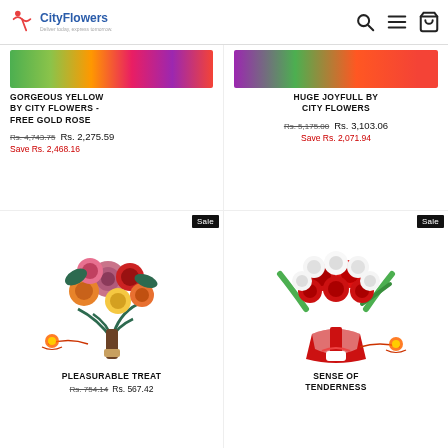CityFlowers
[Figure (photo): Cropped top portion of yellow flower product image]
GORGEOUS YELLOW BY CITY FLOWERS - FREE GOLD ROSE
Rs. 4,743.75  Rs. 2,275.59
Save Rs. 2,468.16
[Figure (photo): Cropped top portion of joyfull flowers product image]
HUGE JOYFULL BY CITY FLOWERS
Rs. 5,175.00  Rs. 3,103.06
Save Rs. 2,071.94
[Figure (photo): Colorful mixed roses bouquet with rakhi - Sale badge]
PLEASURABLE TREAT
Rs. 754.14  Rs. 567.42
[Figure (photo): Red and white roses bouquet with rakhi - Sale badge]
SENSE OF TENDERNESS